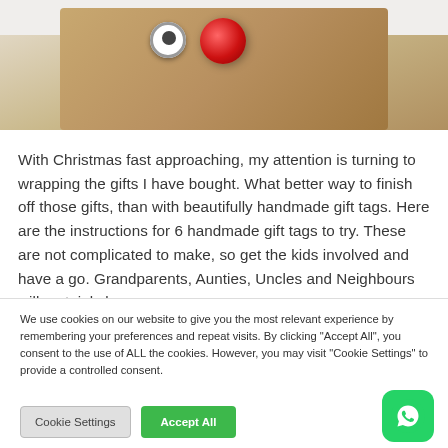[Figure (photo): Close-up photo of a handmade gift tag made from cardboard/cork material, with a googly eye and a red yarn pom-pom attached to it, resembling a reindeer face.]
With Christmas fast approaching, my attention is turning to wrapping the gifts I have bought. What better way to finish off those gifts, than with beautifully handmade gift tags. Here are the instructions for 6 handmade gift tags to try. These are not complicated to make, so get the kids involved and have a go. Grandparents, Aunties, Uncles and Neighbours will certainly love
We use cookies on our website to give you the most relevant experience by remembering your preferences and repeat visits. By clicking "Accept All", you consent to the use of ALL the cookies. However, you may visit "Cookie Settings" to provide a controlled consent.